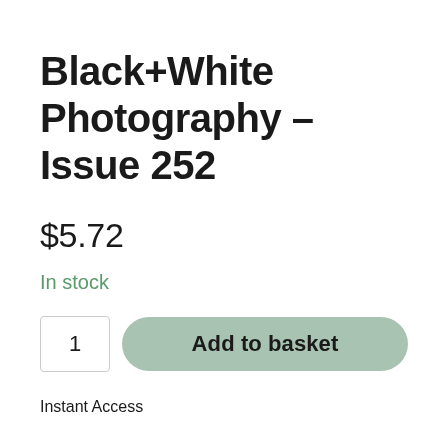Black+White Photography – Issue 252
$5.72
In stock
1
Add to basket
Instant Access